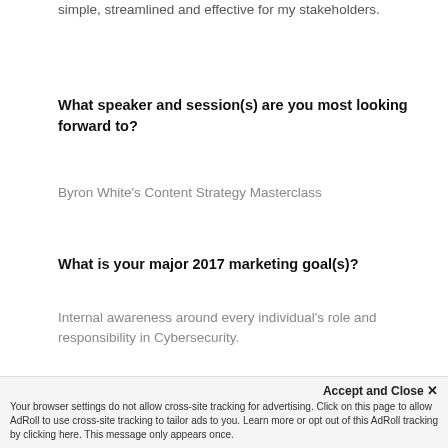simple, streamlined and effective for my stakeholders.
What speaker and session(s) are you most looking forward to?
Byron White's Content Strategy Masterclass
What is your major 2017 marketing goal(s)?
Internal awareness around every individual's role and responsibility in Cybersecurity.
Accept and Close ✕
Your browser settings do not allow cross-site tracking for advertising. Click on this page to allow AdRoll to use cross-site tracking to tailor ads to you. Learn more or opt out of this AdRoll tracking by clicking here. This message only appears once.